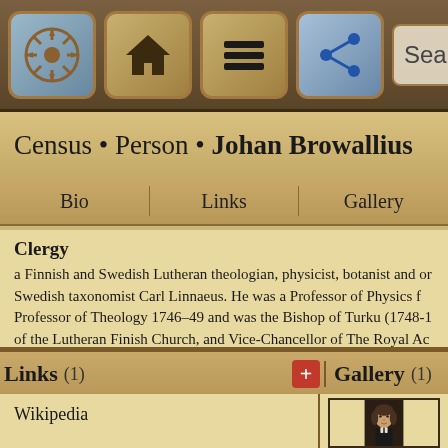Search
Census • Person • Johan Browallius
Bio | Links | Gallery
Clergy
a Finnish and Swedish Lutheran theologian, physicist, botanist and or... Swedish taxonomist Carl Linnaeus. He was a Professor of Physics f... Professor of Theology 1746–49 and was the Bishop of Turku (1748-1... of the Lutheran Finish Church, and Vice-Chancellor of The Royal Ac... 1749 until his death in 1755. He was an elected a member of the Roy... of Sciences in 1740.
Links (1)
Gallery (1)
Wikipedia
[Figure (photo): Portrait painting of Johan Browallius, a man in 17th/18th century clerical attire with white collar bands]